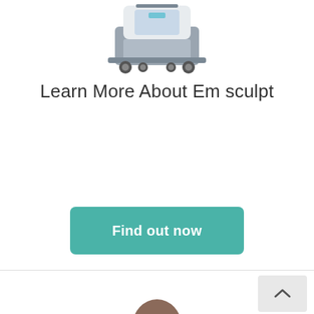[Figure (photo): Medical/aesthetic device on wheels - Emsculpt machine, gray and white, shown from front-side angle]
Learn More About Em sculpt
[Figure (other): Teal rounded rectangle button with white text reading 'Find out now']
[Figure (photo): Partial photo of a person's head/hair visible at bottom of page]